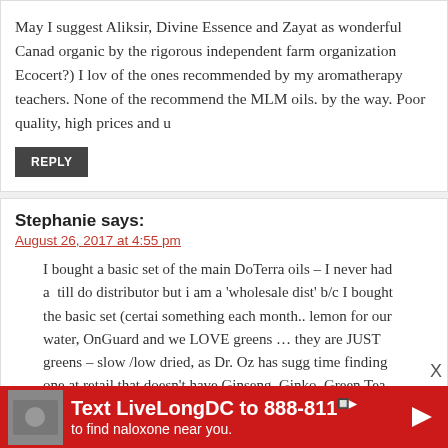May I suggest Aliksir, Divine Essence and Zayat as wonderful Canad… organic by the rigorous independent farm organization Ecocert?) I lov… of the ones recommended by my aromatherapy teachers. None of the… recommend the MLM oils. by the way. Poor quality, high prices and u…
REPLY
Stephanie says:
August 26, 2017 at 4:55 pm
I bought a basic set of the main DoTerra oils – I never had a distributor but i am a 'wholesale dist' b/c I bought the basic set (certa… something each month.. lemon for our water, OnGuard and we LOVE… greens … they are JUST greens – slow /low dried, as Dr. Oz has sugg… time finding one at retail that doesn't have Ginseng, Ginko, Green Tea… GREENS .. this IS just the greens. Beautiful in smoothies or wit'… product & shipping to get greens at no cost
[Figure (infographic): Red advertisement banner: Text LiveLongDC to 888-811 to find naloxone near you.]